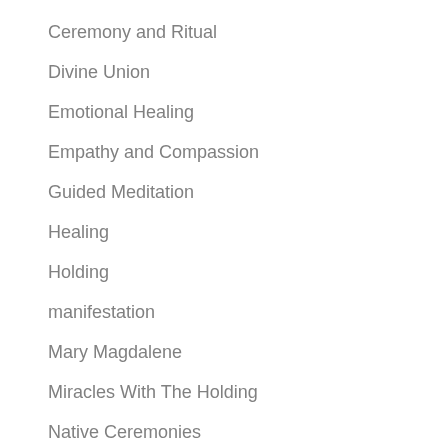Ceremony and Ritual
Divine Union
Emotional Healing
Empathy and Compassion
Guided Meditation
Healing
Holding
manifestation
Mary Magdalene
Miracles With The Holding
Native Ceremonies